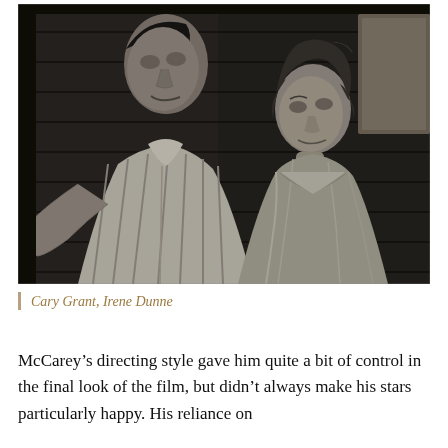[Figure (photo): Black and white film still of a man in a striped shirt (Cary Grant) and a woman in a satin dress (Irene Dunne) facing each other inside a wooden cabin.]
Cary Grant, Irene Dunne
McCarey's directing style gave him quite a bit of control in the final look of the film, but didn't always make his stars particularly happy. His reliance on